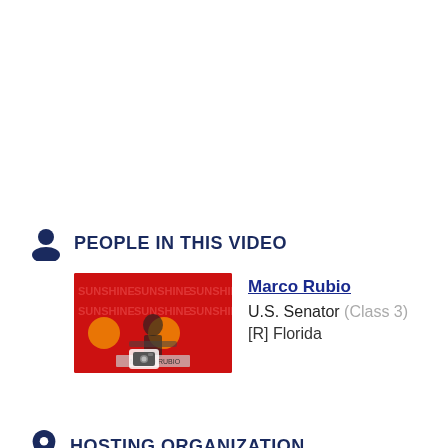PEOPLE IN THIS VIDEO
[Figure (photo): Thumbnail photo of Marco Rubio speaking at a podium with red background bearing the Sunshine logo, with a camera icon overlay]
Marco Rubio
U.S. Senator (Class 3)
[R] Florida
HOSTING ORGANIZATION
Republican Party of Florida